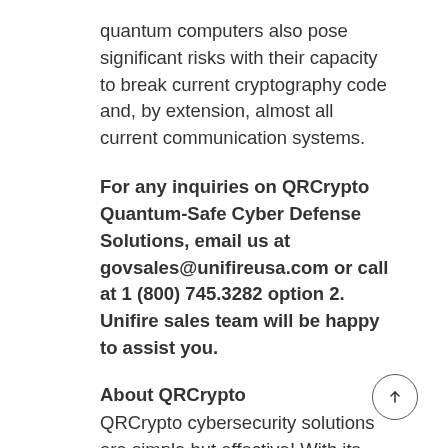quantum computers also pose significant risks with their capacity to break current cryptography code and, by extension, almost all current communication systems.
For any inquiries on QRCrypto Quantum-Safe Cyber Defense Solutions, email us at govsales@unifireusa.com or call at 1 (800) 745.3282 option 2. Unifire sales team will be happy to assist you.
About QRCrypto
QRCrypto cybersecurity solutions are simple but effective! With its Plug & Play solutions including software or SIM